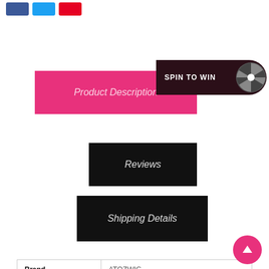[Figure (other): Social share buttons: Facebook (blue), Twitter (light blue), Pinterest (red)]
Product Description
[Figure (other): Spin to Win promotional button with spinning wheel graphic]
Reviews
Shipping Details
| Attribute | Value |
| --- | --- |
| Brand | ATOZWIG |
| Hair Material | 100% Kanekalon Heat Friendly Fiber |
| Hair Density | 150% |
| Lace Front | 18YS Lace Front Wi... |
[Figure (other): Scroll to top pink circular button with upward arrow]